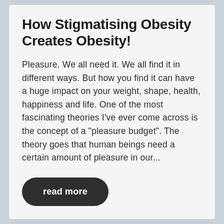How Stigmatising Obesity Creates Obesity!
Pleasure. We all need it. We all find it in different ways. But how you find it can have a huge impact on your weight, shape, health, happiness and life. One of the most fascinating theories I've ever come across is the concept of a "pleasure budget". The theory goes that human beings need a certain amount of pleasure in our...
read more